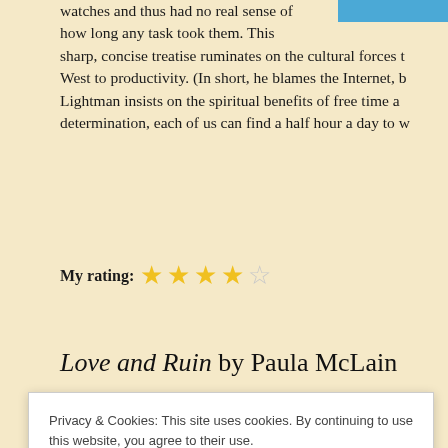watches and thus had no real sense of how long any task took them. This sharp, concise treatise ruminates on the cultural forces that drew the West to productivity. (In short, he blames the Internet, bu… Lightman insists on the spiritual benefits of free time an… determination, each of us can find a half hour a day to wa…
My rating: ★★★★☆
Love and Ruin by Paula McLain
Privacy & Cookies: This site uses cookies. By continuing to use this website, you agree to their use. To find out more, including how to control cookies, see here: Cookie Policy
Close and accept